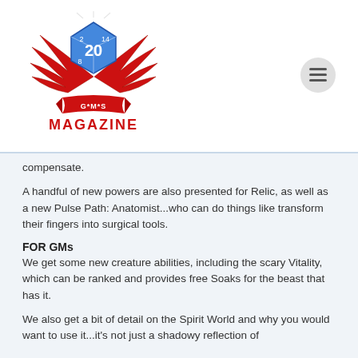[Figure (logo): GMS Magazine logo: blue d20 die with red wings and a red banner reading G*M*S MAGAZINE]
compensate.
A handful of new powers are also presented for Relic, as well as a new Pulse Path: Anatomist...who can do things like transform their fingers into surgical tools.
FOR GMs
We get some new creature abilities, including the scary Vitality, which can be ranked and provides free Soaks for the beast that has it.
We also get a bit of detail on the Spirit World and why you would want to use it...it's not just a shadowy reflection of the living world...it's that and more, as we come to see.